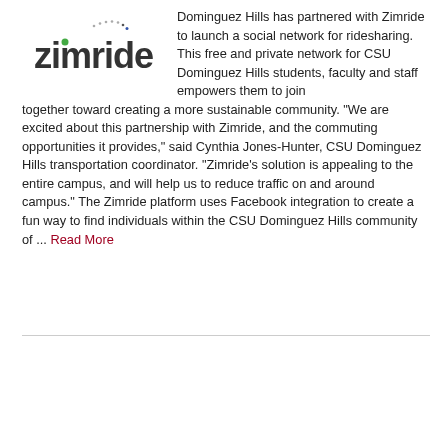[Figure (logo): Zimride logo: stylized text 'zimride' in dark gray with a dotted arc above and a green/blue dot accent]
Dominguez Hills has partnered with Zimride to launch a social network for ridesharing. This free and private network for CSU Dominguez Hills students, faculty and staff empowers them to join together toward creating a more sustainable community. “We are excited about this partnership with Zimride, and the commuting opportunities it provides,” said Cynthia Jones-Hunter, CSU Dominguez Hills transportation coordinator. “Zimride’s solution is appealing to the entire campus, and will help us to reduce traffic on and around campus.” The Zimride platform uses Facebook integration to create a fun way to find individuals within the CSU Dominguez Hills community of ... Read More